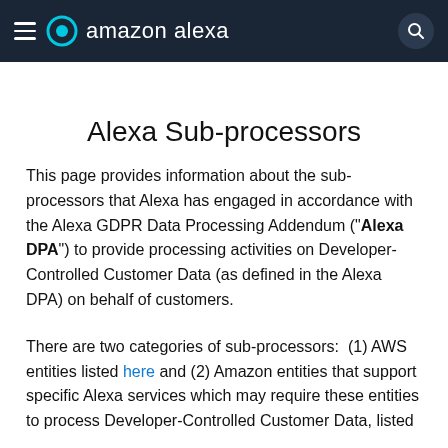amazon alexa
Alexa Sub-processors
This page provides information about the sub-processors that Alexa has engaged in accordance with the Alexa GDPR Data Processing Addendum (“Alexa DPA”) to provide processing activities on Developer-Controlled Customer Data (as defined in the Alexa DPA) on behalf of customers.
There are two categories of sub-processors:  (1) AWS entities listed here and (2) Amazon entities that support specific Alexa services which may require these entities to process Developer-Controlled Customer Data, listed below.